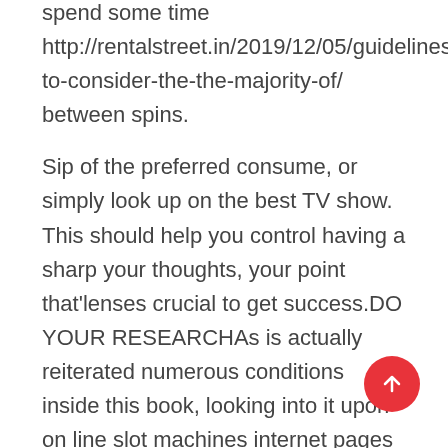spend some time http://rentalstreet.in/2019/12/05/guidelines-to-consider-the-the-majority-of/ between spins.
Sip of the preferred consume, or simply look up on the best TV show. This should help you control having a sharp your thoughts, your point that'lenses crucial to get success.DO YOUR RESEARCHAs is actually reiterated numerous conditions inside this book, looking into it upon on line slot machines internet pages and also specific flash games is important for you to virtually any person whose ambition is to earn money performing on the net slots.